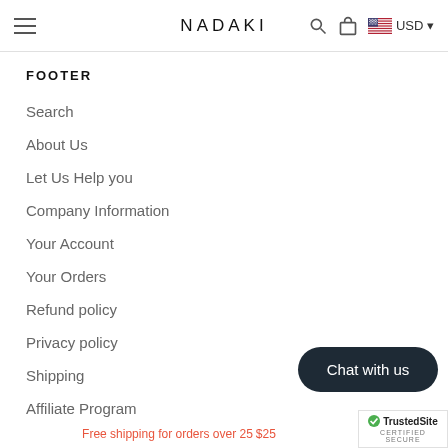NADAKI — navigation header with hamburger menu, search, bag, USD flag
FOOTER
Search
About Us
Let Us Help you
Company Information
Your Account
Your Orders
Refund policy
Privacy policy
Shipping
Affiliate Program
[Figure (other): Chat with us dark button overlay]
[Figure (other): TrustedSite Certified Secure badge]
Free shipping for orders over 25 $25